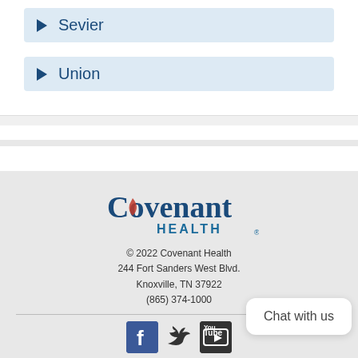Sevier
Union
[Figure (logo): Covenant Health logo with swoosh and red accent]
© 2022 Covenant Health
244 Fort Sanders West Blvd.
Knoxville, TN 37922
(865) 374-1000
Chat with us
[Figure (other): Social media icons: Facebook, Twitter, YouTube]